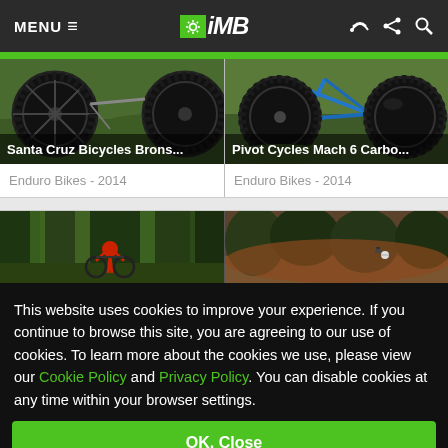MENU ≡  iMB  (RSS) (Share) (Search)
[Figure (photo): Mountain bike rear wheel on grass - Santa Cruz Bicycles Bronson]
Santa Cruz Bicycles Brons...
Enduro Bikes - 2014
[Figure (photo): Blue mountain bike on grass - Pivot Cycles Mach 6 Carbon]
Pivot Cycles Mach 6 Carbo...
Enduro Bikes - 2014
[Figure (photo): Mountain biker riding through forest]
[Figure (photo): Mountain bike on trail in wooded area]
This website uses cookies to improve your experience. If you continue to browse this site, you are agreeing to our use of cookies. To learn more about the cookies we use, please view our Cookie Policy and Privacy Policy. You can disable cookies at any time within your browser settings.
OK, Close